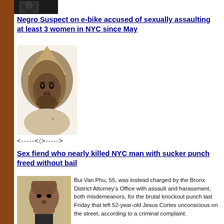[Figure (photo): Small photo at top, dark/shadowy image]
Negro Suspect on e-bike accused of sexually assaulting at least 3 women in NYC since May
[Figure (illustration): Police composite sketch of a person in a hoodie]
<-----<[]>----->
Sex fiend who nearly killed NYC man with sucker punch freed without bail
[Figure (photo): Mugshot photo of Bui Van Phu]
Bui Van Phu, 55, was instead charged by the Bronx District Attorney's Office with assault and harassment, both misdemeanors, for the brutal knockout punch last Friday that left 52-year-old Jesus Cortes unconscious on the street, according to a criminal complaint.
The victim received brain surgery, according to...